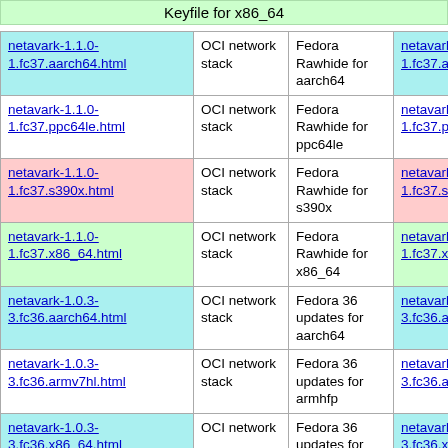Keyfile for x86_64
| Link | Type | Distribution | RPM |
| --- | --- | --- | --- |
| netavark-1.1.0-1.fc37.aarch64.html | OCI network stack | Fedora Rawhide for aarch64 | netavark-1.1.0-1.fc37.aarch64.rpm |
| netavark-1.1.0-1.fc37.ppc64le.html | OCI network stack | Fedora Rawhide for ppc64le | netavark-1.1.0-1.fc37.ppc64le.rpm |
| netavark-1.1.0-1.fc37.s390x.html | OCI network stack | Fedora Rawhide for s390x | netavark-1.1.0-1.fc37.s390x.rpm |
| netavark-1.1.0-1.fc37.x86_64.html | OCI network stack | Fedora Rawhide for x86_64 | netavark-1.1.0-1.fc37.x86_64.rpm |
| netavark-1.0.3-3.fc36.aarch64.html | OCI network stack | Fedora 36 updates for aarch64 | netavark-1.0.3-3.fc36.aarch64.rpm |
| netavark-1.0.3-3.fc36.armv7hl.html | OCI network stack | Fedora 36 updates for armhfp | netavark-1.0.3-3.fc36.armv7hl.rpm |
| netavark-1.0.3-3.fc36.x86_64.html | OCI network stack | Fedora 36 updates for | netavark-1.0.3-3.fc36.x86_64.rpm |